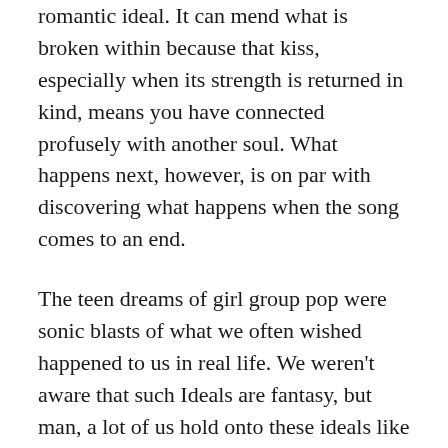romantic ideal. It can mend what is broken within because that kiss, especially when its strength is returned in kind, means you have connected profusely with another soul. What happens next, however, is on par with discovering what happens when the song comes to an end.
The teen dreams of girl group pop were sonic blasts of what we often wished happened to us in real life. We weren't aware that such Ideals are fantasy, but man, a lot of us hold onto these ideals like a wino with a bottle for a long time. While I am not alone in floating in the romantic cloud of the Supremes and all of the other artists of the era that told us “it’s in his kiss,” I finally realized that not every kiss has an endgame. Sometimes a kiss is just that, a kiss. It really is a